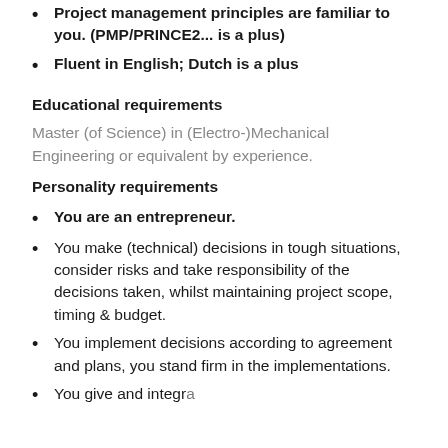Project management principles are familiar to you. (PMP/PRINCE2... is a plus)
Fluent in English; Dutch is a plus
Educational requirements
Master (of Science) in (Electro-)Mechanical Engineering or equivalent by experience.
Personality requirements
You are an entrepreneur.
You make (technical) decisions in tough situations, consider risks and take responsibility of the decisions taken, whilst maintaining project scope, timing & budget.
You implement decisions according to agreement and plans, you stand firm in the implementations.
You give and integrate…